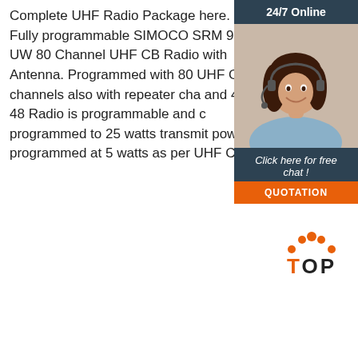Complete UHF Radio Package here. Fully programmable SIMOCO SRM 9000 UW 80 Channel UHF CB Radio with Antenna. Programmed with 80 UHF CB channels also with repeater cha... and 41-48 Radio is programmable and c... programmed to 25 watts transmit power, programmed at 5 watts as per UHF CB c...
[Figure (photo): Customer service representative woman wearing headset, with 24/7 Online header, Click here for free chat text, and QUOTATION button in dark blue/orange widget]
Get Price
[Figure (logo): TOP icon with orange dots above and orange T letter, rest in dark - back to top button]